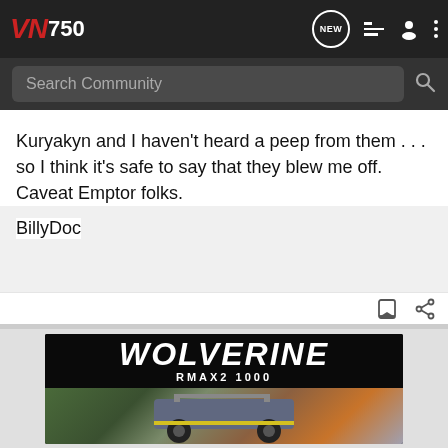VN750 | NEW | (navigation icons)
Search Community
Kuryakyn and I haven't heard a peep from them . . . so I think it's safe to say that they blew me off. Caveat Emptor folks.
BillyDoc
[Figure (screenshot): Wolverine RMAX2 1000 UTV advertisement banner showing an off-road vehicle on rocky terrain with forest background]